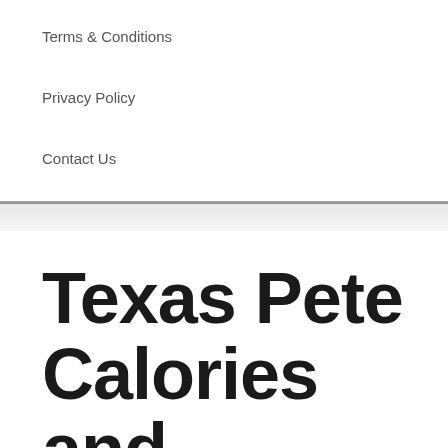Terms & Conditions
Privacy Policy
Contact Us
Texas Pete Calories and Nutrition Facts